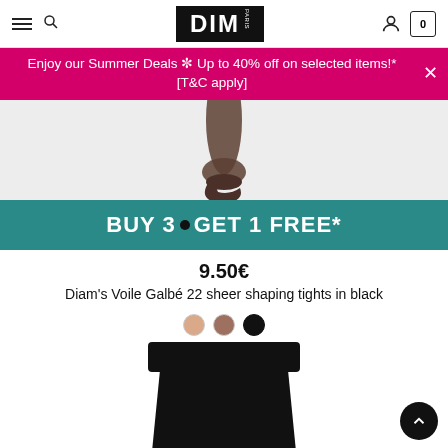DIM PARIS - navigation header with hamburger menu, search, logo, user icon, cart (0)
Enjoy our Summer Deals ✼ Up to 40% off on selected items!* [T&C apply]
[Figure (photo): Product photo showing legs wearing sheer tights, top portion visible on grey background]
BUY 3 GET 1 FREE*
9.50€
Diam's Voile Galbé 22 sheer shaping tights in black
[Figure (other): Three color swatches: nude/skin, bronze/dark nude, black]
[Figure (photo): Product photo showing black tights/shapewear lower body shot on white background]